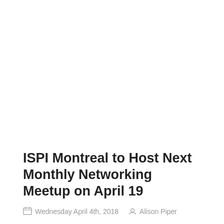ISPI Montreal to Host Next Monthly Networking Meetup on April 19
Wednesday April 4th, 2018   Alison Piper
To provide you with ongoing opportunities to meet new colleagues and share information in an informal setting,